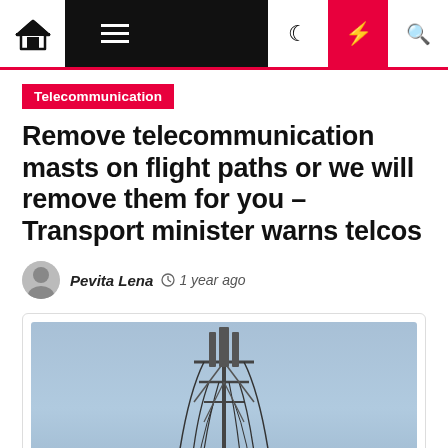Navigation bar with home, menu, moon, bolt, and search icons
Telecommunication
Remove telecommunication masts on flight paths or we will remove them for you – Transport minister warns telcos
Pevita Lena  1 year ago
[Figure (photo): A telecommunication mast/tower against a grey-blue sky background]